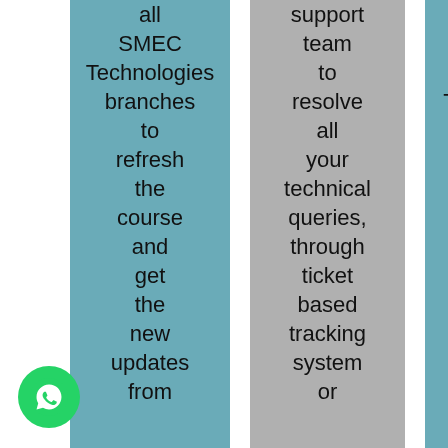all SMEC Technologies branches to refresh the course and get the new updates from
support team to resolve all your technical queries, through ticket based tracking system or
project and SMEC Technologies will certify you as a Oracle Course.
[Figure (illustration): Green circular WhatsApp logo button in bottom-left corner]